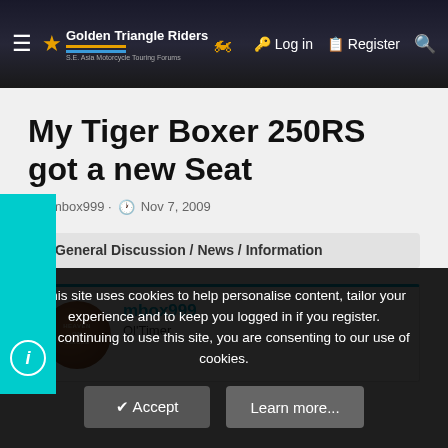Golden Triangle Riders — S.E. Asia Motorcycle Touring Forums | Log in | Register
My Tiger Boxer 250RS got a new Seat
mbox999 · Nov 7, 2009
< General Discussion / News / Information
mbox999
Ol'Timer
This site uses cookies to help personalise content, tailor your experience and to keep you logged in if you register.
By continuing to use this site, you are consenting to our use of cookies.